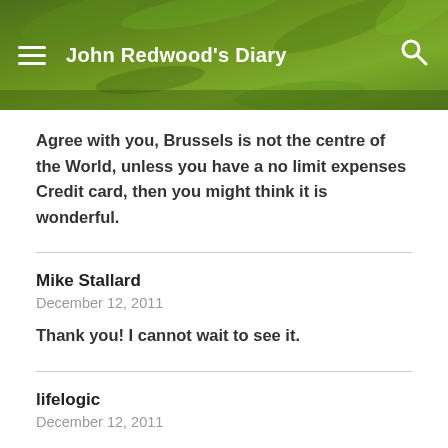John Redwood's Diary
Agree with you, Brussels is not the centre of the World, unless you have a no limit expenses Credit card, then you might think it is wonderful.
Mike Stallard
December 12, 2011
Thank you! I cannot wait to see it.
lifelogic
December 12, 2011
Brussels is just the centre for people looking for well paid...